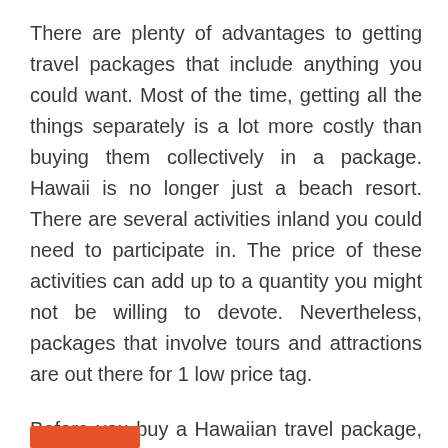There are plenty of advantages to getting travel packages that include anything you could want. Most of the time, getting all the things separately is a lot more costly than buying them collectively in a package. Hawaii is no longer just a beach resort. There are several activities inland you could need to participate in. The price of these activities can add up to a quantity you might not be willing to devote. Nevertheless, packages that involve tours and attractions are out there for 1 low price tag.
Before you buy a Hawaiian travel package, you need ...